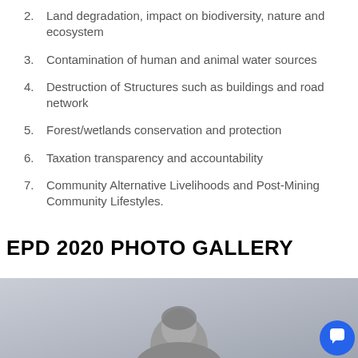2. Land degradation, impact on biodiversity, nature and ecosystem
3. Contamination of human and animal water sources
4. Destruction of Structures such as buildings and road network
5. Forest/wetlands conservation and protection
6. Taxation transparency and accountability
7. Community Alternative Livelihoods and Post-Mining Community Lifestyles.
EPD 2020 PHOTO GALLERY
[Figure (photo): Photo gallery image showing a person from the EPD 2020 photo gallery, with a blue chat button in the lower right corner.]